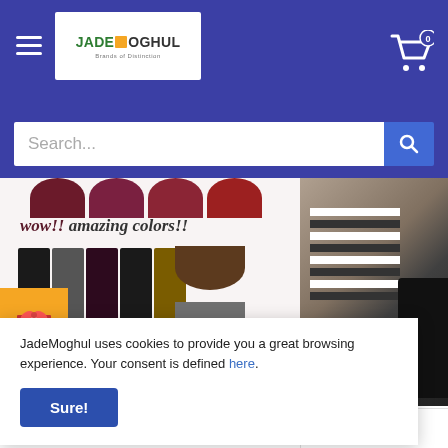[Figure (screenshot): JadeMoghul e-commerce website header with navigation bar, logo, cart icon, search bar, product images (lipstick set and fashion photo), gift icon, cookie consent banner, and footer thumbnails.]
JadeMoghul — Brands of Distinction (navigation bar with hamburger menu, logo, shopping cart with 0 items)
Search...
[Figure (photo): Lipstick product image showing multiple matte liquid lipstick tubes with text 'wow!! amazing colors!!' and swatches in brown, grey, and black]
[Figure (photo): Fashion photo showing person in black and white striped outfit holding a black jacket]
[Figure (illustration): Orange gift box icon]
JadeMoghul uses cookies to provide you a great browsing experience. Your consent is defined here.
Sure!
Jacket Streetwear Ret...